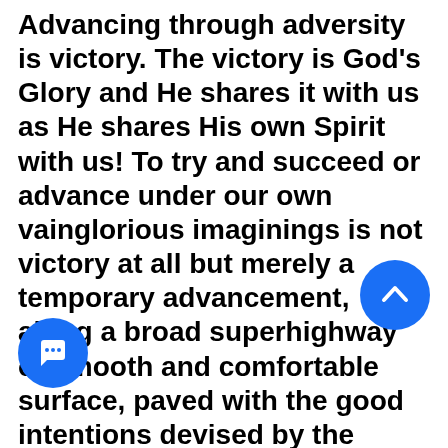Advancing through adversity is victory. The victory is God's Glory and He shares it with us as He shares His own Spirit with us! To try and succeed or advance under our own vainglorious imaginings is not victory at all but merely a temporary advancement, along a broad superhighway of smooth and comfortable surface, paved with the good intentions devised by the carnal society of human endeavor. This is the insurmountable path toward the destruction of fallen n... Choosing the narrow way of obedience, humility and fellowship is the road to life that is abundant and l. It is a way that is marked by obstacles and adversity but we have